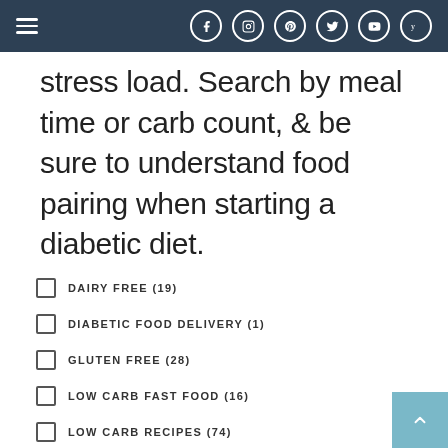Navigation bar with hamburger menu and social media icons (Facebook, Instagram, Pinterest, Twitter, YouTube, Yummly)
stress load. Search by meal time or carb count, & be sure to understand food pairing when starting a diabetic diet.
DAIRY FREE (19)
DIABETIC FOOD DELIVERY (1)
GLUTEN FREE (28)
LOW CARB FAST FOOD (16)
LOW CARB RECIPES (74)
LOW CARB BREAKFAST (17)
LOW CARB DESSERTS (34)